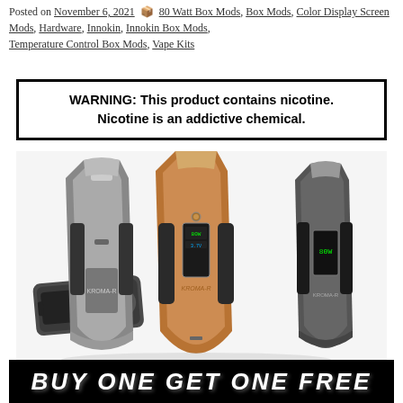Posted on November 6, 2021  80 Watt Box Mods, Box Mods, Color Display Screen Mods, Hardware, Innokin, Innokin Box Mods, Temperature Control Box Mods, Vape Kits
WARNING: This product contains nicotine. Nicotine is an addictive chemical.
[Figure (photo): Three Innokin Kroma-R vape box mods in different colorways (silver/gunmetal, rose gold/copper, and dark gunmetal/black) displayed upright, with one mod lying on its side in the foreground showing the 510 connection.]
BUY ONE GET ONE FREE